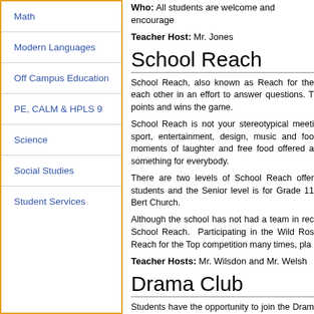Math
Modern Languages
Off Campus Education
PE, CALM & HPLS 9
Science
Social Studies
Student Services
Who: All students are welcome and encourage
Teacher Host: Mr. Jones
School Reach
School Reach, also known as Reach for the each other in an effort to answer questions. T points and wins the game.
School Reach is not your stereotypical meeti sport, entertainment, design, music and foo moments of laughter and free food offered something for everybody.
There are two levels of School Reach offe students and the Senior level is for Grade 11 Bert Church.
Although the school has not had a team in re School Reach.  Participating in the Wild Ro Reach for the Top competition many times, pl
Teacher Hosts: Mr. Wilsdon and Mr. Welsh
Drama Club
Students have the opportunity to join the Dra our Main Stage production of the Advanced A